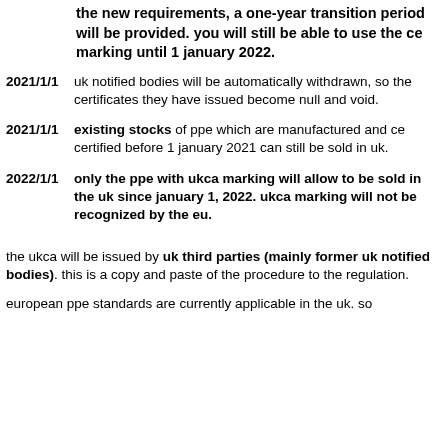the new requirements, a one-year transition period will be provided. you will still be able to use the ce marking until 1 january 2022.
2021/1/1 uk notified bodies will be automatically withdrawn, so the certificates they have issued become null and void.
2021/1/1 existing stocks of ppe which are manufactured and ce certified before 1 january 2021 can still be sold in uk.
2022/1/1 only the ppe with ukca marking will allow to be sold in the uk since january 1, 2022. ukca marking will not be recognized by the eu.
the ukca will be issued by uk third parties (mainly former uk notified bodies). this is a copy and paste of the procedure to the regulation.
european ppe standards are currently applicable in the uk. so